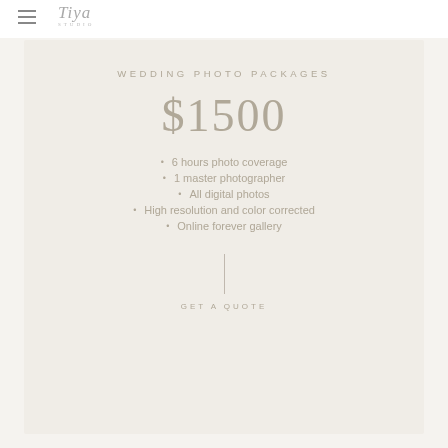Tiya Studio
WEDDING PHOTO PACKAGES
$1500
6 hours photo coverage
1 master photographer
All digital photos
High resolution and color corrected
Online forever gallery
GET A QUOTE